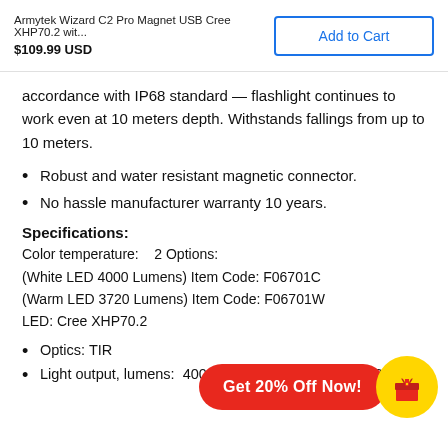Armytek Wizard C2 Pro Magnet USB Cree XHP70.2 wit... $109.99 USD
accordance with IP68 standard — flashlight continues to work even at 10 meters depth. Withstands fallings from up to 10 meters.
Robust and water resistant magnetic connector.
No hassle manufacturer warranty 10 years.
Specifications:
Color temperature:    2 Options:
(White LED 4000 Lumens) Item Code: F06701C
(Warm LED 3720 Lumens) Item Code: F06701W
LED: Cree XHP70.2
Optics: TIR
Light output, lumens:  4000 lumens White Light and 3... arm
[Figure (other): Promotional overlay: red pill-shaped button reading 'Get 20% Off Now!' with a yellow circle containing a red gift box icon]